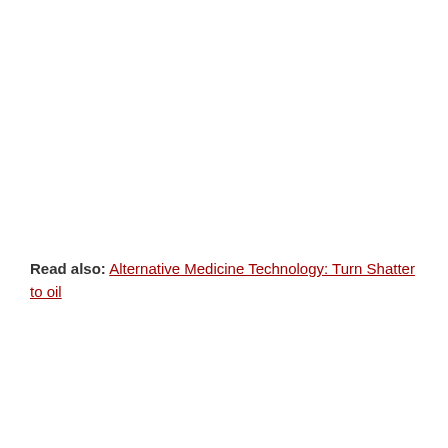Read also: Alternative Medicine Technology: Turn Shatter to oil